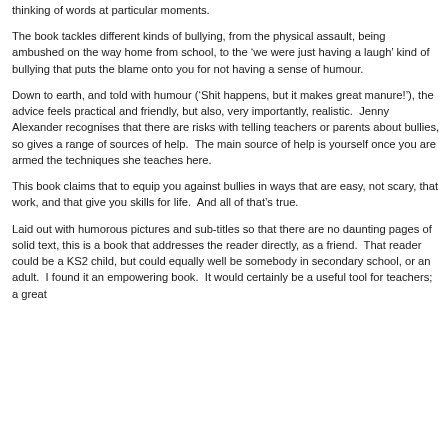thinking of words at particular moments.
The book tackles different kinds of bullying, from the physical assault, being ambushed on the way home from school, to the ‘we were just having a laugh’ kind of bullying that puts the blame onto you for not having a sense of humour.
Down to earth, and told with humour (‘Shit happens, but it makes great manure!’), the advice feels practical and friendly, but also, very importantly, realistic.  Jenny Alexander recognises that there are risks with telling teachers or parents about bullies, so gives a range of sources of help.  The main source of help is yourself once you are armed the techniques she teaches here.
This book claims that to equip you against bullies in ways that are easy, not scary, that work, and that give you skills for life.  And all of that’s true.
Laid out with humorous pictures and sub-titles so that there are no daunting pages of solid text, this is a book that addresses the reader directly, as a friend.  That reader could be a KS2 child, but could equally well be somebody in secondary school, or an adult.  I found it an empowering book.  It would certainly be a useful tool for teachers; a great